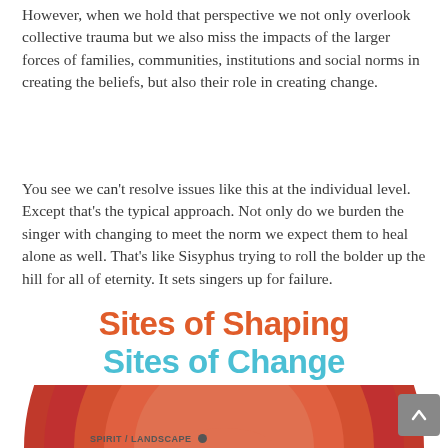However, when we hold that perspective we not only overlook collective trauma but we also miss the impacts of the larger forces of families, communities, institutions and social norms in creating the beliefs, but also their role in creating change.
You see we can't resolve issues like this at the individual level. Except that's the typical approach. Not only do we burden the singer with changing to meet the norm we expect them to heal alone as well. That's like Sisyphus trying to roll the bolder up the hill for all of eternity. It sets singers up for failure.
Sites of Shaping
Sites of Change
[Figure (infographic): Partial circular diagram showing concentric arcs in red/orange tones, partially visible at bottom of page. Label 'SPIRIT / LANDSCAPE' with a dot visible at bottom left.]